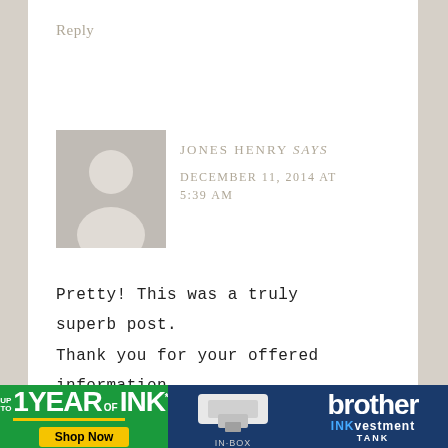Reply
[Figure (illustration): Generic user avatar silhouette — gray square with white circle head and torso shape]
JONES HENRY says
DECEMBER 11, 2014 AT 5:39 AM
Pretty! This was a truly superb post. Thank you for your offered information.
fashion
[Figure (infographic): Brother printer advertisement banner: 'UP TO 1 YEAR OF INK* Shop Now IN-BOX' on green background with printer image, and 'brother INKvestment TANK' on blue background]